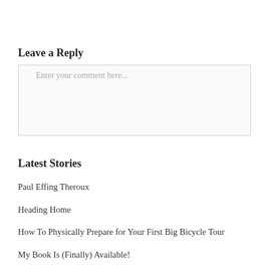Leave a Reply
Enter your comment here...
Latest Stories
Paul Effing Theroux
Heading Home
How To Physically Prepare for Your First Big Bicycle Tour
My Book Is (Finally) Available!
It Ends A The Water’s Edge